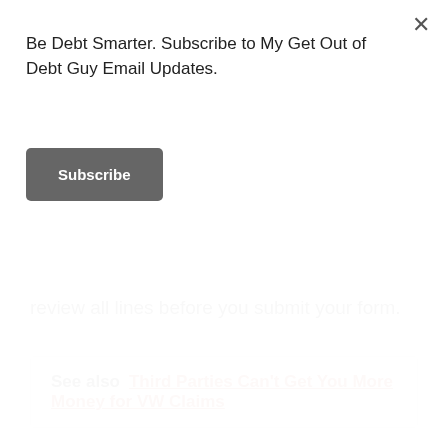[Figure (other): Modal popup overlay with 'Be Debt Smarter. Subscribe to My Get Out of Debt Guy Email Updates.' text and a Subscribe button, with an X close button in the top right corner.]
review all lines before you submit your form.
See also  Third Parties Can't Get You More Money for VW Claims
Also take note that you can check the status of your tax refund by downloading the IRS2GO app at IRS.gov/refunds. You can also check the status of your refund by calling the IRS Refund Hotline at 800-829-1954. To check the status of your refund, you need to provide your Social Security number,